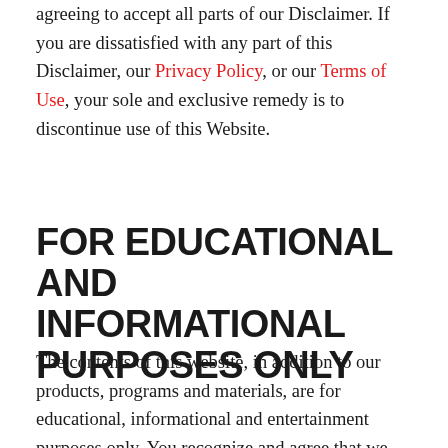agreeing to accept all parts of our Disclaimer. If you are dissatisfied with any part of this Disclaimer, our Privacy Policy, or our Terms of Use, your sole and exclusive remedy is to discontinue use of this Website.
FOR EDUCATIONAL AND INFORMATIONAL PURPOSES ONLY
The contents of this website, in addition to our products, programs and materials, are for educational, informational and entertainment purposes only. You recognize and agree that we have made no implications, warranties, promises,